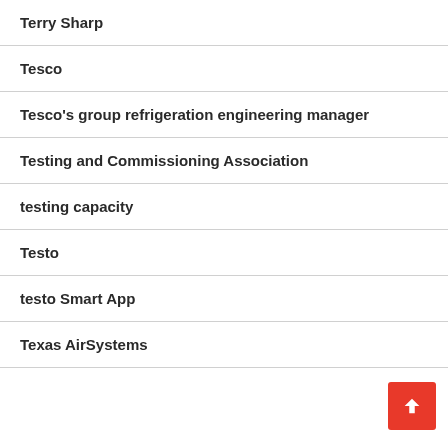Terry Sharp
Tesco
Tesco's group refrigeration engineering manager
Testing and Commissioning Association
testing capacity
Testo
testo Smart App
Texas AirSystems